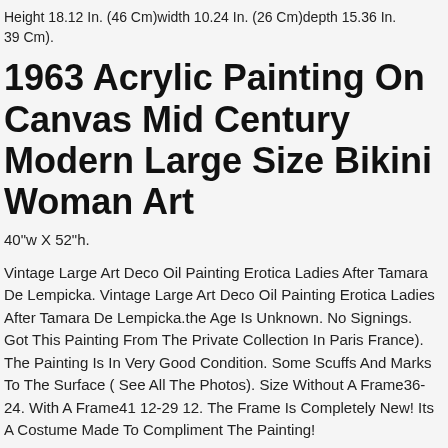Height 18.12 In. (46 Cm)width 10.24 In. (26 Cm)depth 15.36 In. 39 Cm).
1963 Acrylic Painting On Canvas Mid Century Modern Large Size Bikini Woman Art
40"w X 52"h.
Vintage Large Art Deco Oil Painting Erotica Ladies After Tamara De Lempicka. Vintage Large Art Deco Oil Painting Erotica Ladies After Tamara De Lempicka.the Age Is Unknown. No Signings. Got This Painting From The Private Collection In Paris France). The Painting Is In Very Good Condition. Some Scuffs And Marks To The Surface ( See All The Photos). Size Without A Frame36-24. With A Frame41 12-29 12. The Frame Is Completely New! Its A Costume Made To Compliment The Painting!